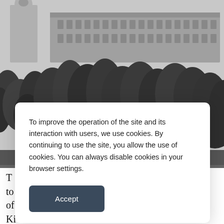[Figure (photo): Black and white historical photograph of a large classical building with a bell tower/dome on the left, visible above dense tree canopy. The building appears to be a 19th-century institutional structure with many windows. The scene shows a park or square with trees in the foreground.]
To improve the operation of the site and its interaction with users, we use cookies. By continuing to use the site, you allow the use of cookies. You can always disable cookies in your browser settings.
Accept
T e to d of Ki noble maidens.